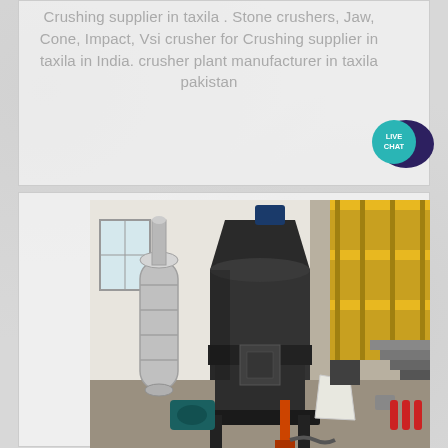Crushing supplier in taxila . Stone crushers, Jaw, Cone, Impact, Vsi crusher for Crushing supplier in taxila in India. crusher plant manufacturer in taxila pakistan
[Figure (photo): Industrial grinding/milling machine (vertical roller mill) inside a factory building. Large dark cylindrical machine with conical top, silver ductwork/cyclone separator on the left, yellow metal platform/mezzanine on the right with stairs, concrete floor.]